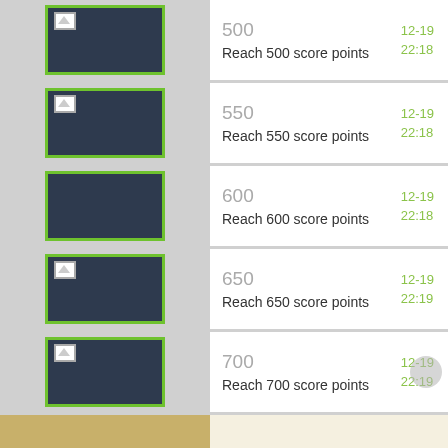500 — Reach 500 score points — 12-19 22:18
550 — Reach 550 score points — 12-19 22:18
600 — Reach 600 score points — 12-19 22:18
650 — Reach 650 score points — 12-19 22:19
700 — Reach 700 score points — 12-19 22:19